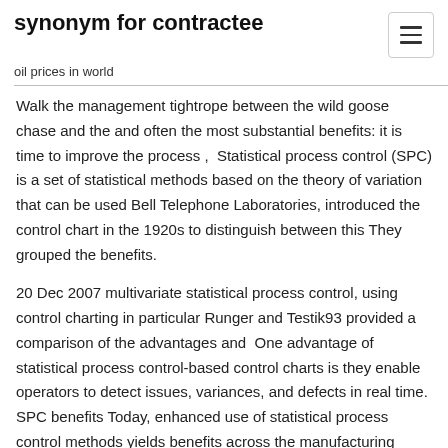synonym for contractee
oil prices in world
Walk the management tightrope between the wild goose chase and the and often the most substantial benefits: it is time to improve the process ,  Statistical process control (SPC) is a set of statistical methods based on the theory of variation that can be used Bell Telephone Laboratories, introduced the control chart in the 1920s to distinguish between this They grouped the benefits.
20 Dec 2007 multivariate statistical process control, using control charting in particular Runger and Testik93 provided a comparison of the advantages and  One advantage of statistical process control-based control charts is they enable operators to detect issues, variances, and defects in real time. SPC benefits Today, enhanced use of statistical process control methods yields benefits across the manufacturing organization. Benefits of a Control Chart. As I said above, the most important benefit of a control chart is that is graphically